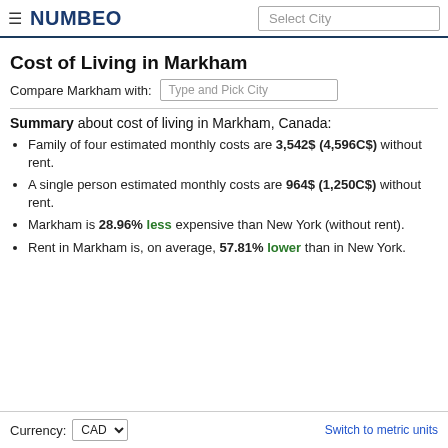NUMBEO — Select City
Cost of Living in Markham
Compare Markham with: Type and Pick City
Summary about cost of living in Markham, Canada:
Family of four estimated monthly costs are 3,542$ (4,596C$) without rent.
A single person estimated monthly costs are 964$ (1,250C$) without rent.
Markham is 28.96% less expensive than New York (without rent).
Rent in Markham is, on average, 57.81% lower than in New York.
Currency: CAD   Switch to metric units